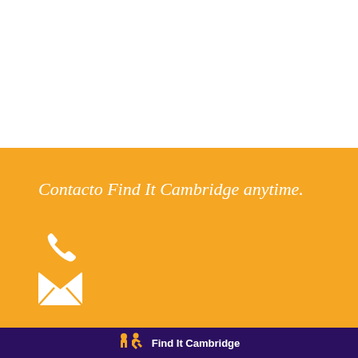Contacto Find It Cambridge anytime.
[Figure (logo): Find It Cambridge logo with orange figures and white text on purple background]